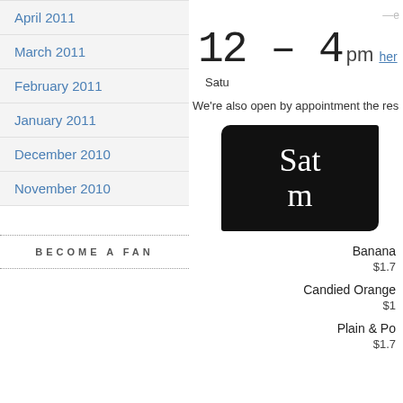April 2011
March 2011
February 2011
January 2011
December 2010
November 2010
BECOME A FAN
12 – 4 pm here Satu
We're also open by appointment the res
[Figure (photo): Chalkboard sign with white chalk text reading 'Sat m']
Banana
$1.7
Candied Orange
$1
Plain & Po
$1.7